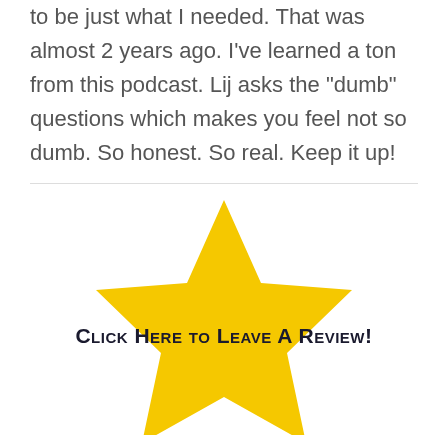to be just what I needed. That was almost 2 years ago. I've learned a ton from this podcast. Lij asks the “dumb” questions which makes you feel not so dumb. So honest. So real. Keep it up!
[Figure (illustration): A large yellow star shape with the text 'Click Here to Leave A Review!' overlaid across it in dark bold small-caps font.]
Click Here to Leave A Review!